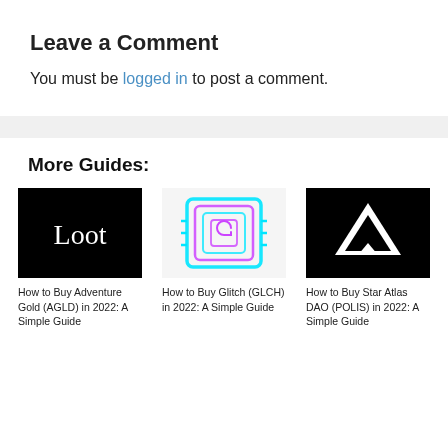Leave a Comment
You must be logged in to post a comment.
More Guides:
[Figure (illustration): Black background with white serif text 'Loot']
How to Buy Adventure Gold (AGLD) in 2022: A Simple Guide
[Figure (illustration): Glitch (GLCH) neon logo — cyan and purple spiral/bracket shape on light background]
How to Buy Glitch (GLCH) in 2022: A Simple Guide
[Figure (illustration): Black background with white triangle/arrow up logo (Star Atlas DAO POLIS)]
How to Buy Star Atlas DAO (POLIS) in 2022: A Simple Guide